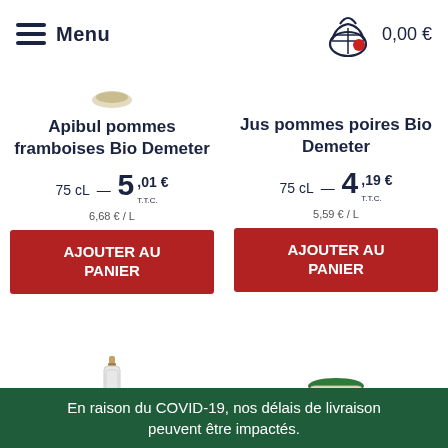Menu   0,00 €
Apibul pommes framboises Bio Demeter
75 cL — 5,01 € T.T.C.
6,68 € / L
AJOUTER AU PANIER
Jus pommes poires Bio Demeter
75 cL — 4,19 € T.T.C.
5,59 € / L
AJOUTER AU PANIER
En raison du COVID-19, nos délais de livraison peuvent être impactés.